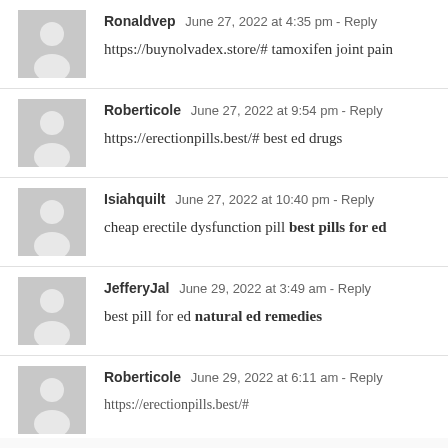Ronaldvep  June 27, 2022 at 4:35 pm - Reply
https://buynolvadex.store/# tamoxifen joint pain
Roberticole  June 27, 2022 at 9:54 pm - Reply
https://erectionpills.best/# best ed drugs
Isiahquilt  June 27, 2022 at 10:40 pm - Reply
cheap erectile dysfunction pill best pills for ed
JefferyJal  June 29, 2022 at 3:49 am - Reply
best pill for ed natural ed remedies
Roberticole  June 29, 2022 at 6:11 am - Reply
https://erectionpills.best/# best ed ...